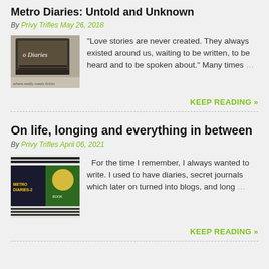Metro Diaries: Untold and Unknown
By Privy Trifles May 26, 2018
[Figure (photo): Photo of a laptop with 'o Diaries' text visible and tagline 'where reality meets fiction']
"Love stories are never created. They always existed around us, waiting to be written, to be heard and to be spoken about." Many times …
KEEP READING »
On life, longing and everything in between
By Privy Trifles April 06, 2021
[Figure (photo): Collage of two book/movie covers - Metro Diaries-2 and another colorful cover with a person]
For the time I remember, I always wanted to write. I used to have diaries, secret journals which later on turned into blogs, and long …
KEEP READING »